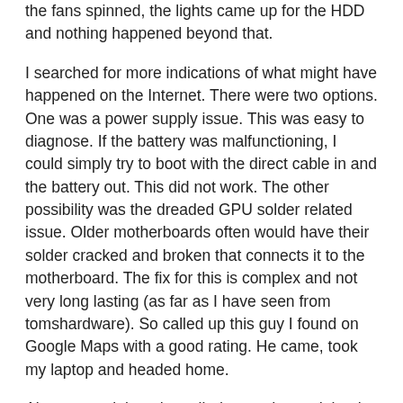the fans spinned, the lights came up for the HDD and nothing happened beyond that.
I searched for more indications of what might have happened on the Internet. There were two options. One was a power supply issue. This was easy to diagnose. If the battery was malfunctioning, I could simply try to boot with the direct cable in and the battery out. This did not work. The other possibility was the dreaded GPU solder related issue. Older motherboards often would have their solder cracked and broken that connects it to the motherboard. The fix for this is complex and not very long lasting (as far as I have seen from tomshardware). So called up this guy I found on Google Maps with a good rating. He came, took my laptop and headed home.
About a week later he called up and stated that he had fixed my machine and he would expect to get about Rs. 3k for the repair job. I was okay. A day later he said that the fix was not permanent and he will not be able to do much more. Of course, he would not charge beyond the Rs. 350 diagnostics